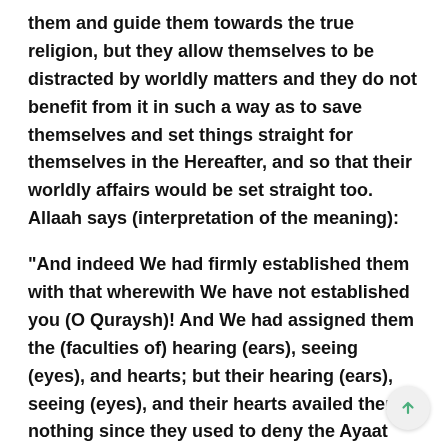them and guide them towards the true religion, but they allow themselves to be distracted by worldly matters and they do not benefit from it in such a way as to save themselves and set things straight for themselves in the Hereafter, and so that their worldly affairs would be set straight too.  Allaah says (interpretation of the meaning):
“And indeed We had firmly established them with that wherewith We have not established you (O Quraysh)! And We had assigned them the (faculties of) hearing (ears), seeing (eyes), and hearts; but their hearing (ears), seeing (eyes), and their hearts availed them nothing since they used to deny the Ayaat (Allaah’s Prophets and their Prophethood,